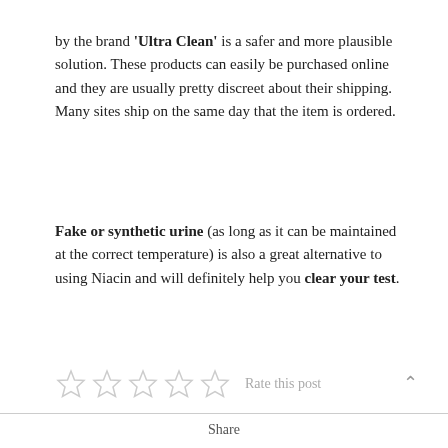by the brand 'Ultra Clean' is a safer and more plausible solution. These products can easily be purchased online and they are usually pretty discreet about their shipping. Many sites ship on the same day that the item is ordered.
Fake or synthetic urine (as long as it can be maintained at the correct temperature) is also a great alternative to using Niacin and will definitely help you clear your test.
Rate this post
Share